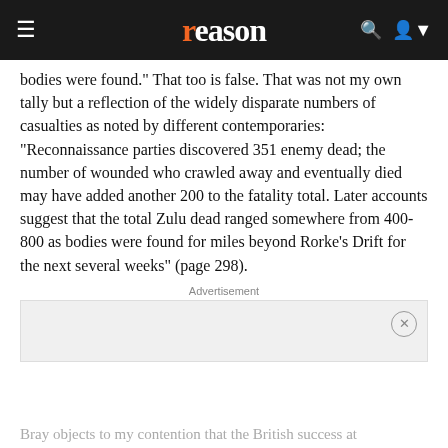reason
bodies were found." That too is false. That was not my own tally but a reflection of the widely disparate numbers of casualties as noted by different contemporaries: "Reconnaissance parties discovered 351 enemy dead; the number of wounded who crawled away and eventually died may have added another 200 to the fatality total. Later accounts suggest that the total Zulu dead ranged somewhere from 400-800 as bodies were found for miles beyond Rorke's Drift for the next several weeks" (page 298).
Advertisement
[Figure (other): Advertisement placeholder box with close button]
Bray objects to my contention that the British success at